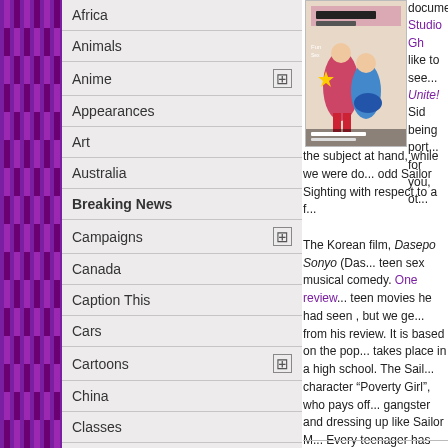Africa
Animals
Anime
Appearances
Art
Australia
Breaking News
Campaigns
Canada
Caption This
Cars
Cartoons
China
Classes
Combat Butler Hayate
Comics
Commercials
[Figure (photo): Movie poster for Dasepo Sonyo - Korean teen sex musical comedy film]
document... Studio Ghibli... like to see... Unite! Sid... being port... for you, ot... the subject at hand, while we were do... odd Sailor Sighting with respect to a f... The Korean film, Dasepo Sonyo (Das... teen sex musical comedy. One review... teen movies he had seen , but we ge... from his review. It is based on the pop... takes place in a high school. The Sail... character “Poverty Girl”, who pays off... gangster and dressing up like Sailor M... Every teenager has sex on the brain a... movie have made it a hit among a ver... we’re not really sure about seeing thi... nonetheless should any of you want t... trailers, click here with caution. Don’t